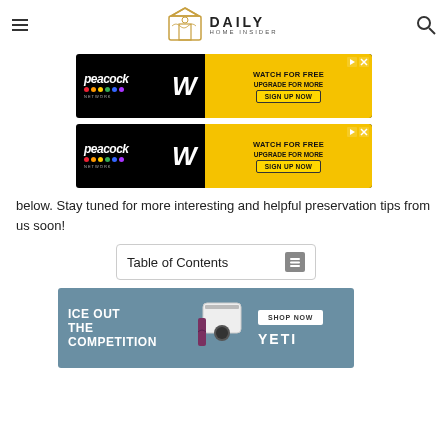Daily Home Insider
[Figure (infographic): Peacock WWE advertisement banner: Watch for free, Upgrade for more, Sign Up Now]
[Figure (infographic): Peacock WWE advertisement banner (duplicate): Watch for free, Upgrade for more, Sign Up Now]
below. Stay tuned for more interesting and helpful preservation tips from us soon!
Table of Contents
[Figure (infographic): YETI advertisement: Ice Out the Competition, Shop Now button, YETI brand logo with cooler and bag products]